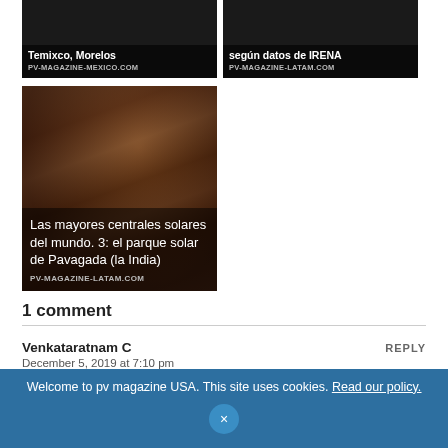[Figure (screenshot): Two article card thumbnails side by side: left card 'Temixco, Morelos - PV-MAGAZINE-MEXICO.COM', right card showing text about IRENA - PV-MAGAZINE-LATAM.COM]
[Figure (photo): Large article card with brownish rocky/cave art background image. Text overlay: 'Las mayores centrales solares del mundo. 3: el parque solar de Pavagada (la India)' and source PV-MAGAZINE-LATAM.COM]
1 comment
Venkataratnam C
December 5, 2019 at 7:10 pm
It is good that USA is going in a big way towards renewables,
Welcome to pv magazine USA. This site uses cookies. Read our policy.